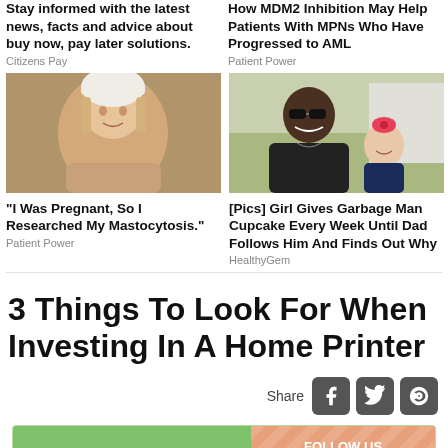Stay informed with the latest news, facts and advice about buy now, pay later solutions.
Citizens Pay
How MDM2 Inhibition May Help Patients With MPNs Who Have Progressed to AML
Patient Power
[Figure (photo): Young woman wearing a white beanie hat, smiling outdoors]
[Figure (photo): Man with sunglasses smiling with a small girl who has a pink bow in her hair, outdoors]
“I Was Pregnant, So I Researched My Mastocytosis.”
Patient Power
[Pics] Girl Gives Garbage Man Cupcake Every Week Until Dad Follows Him And Finds Out Why
HealthyGem
3 Things To Look For When Investing In A Home Printer
Share
[Figure (logo): Lifehacker ad banner with Follow Us On Twitter button]